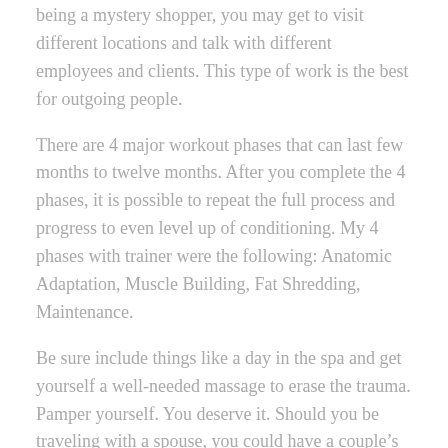being a mystery shopper, you may get to visit different locations and talk with different employees and clients. This type of work is the best for outgoing people.
There are 4 major workout phases that can last few months to twelve months. After you complete the 4 phases, it is possible to repeat the full process and progress to even level up of conditioning. My 4 phases with trainer were the following: Anatomic Adaptation, Muscle Building, Fat Shredding, Maintenance.
Be sure include things like a day in the spa and get yourself a well-needed massage to erase the trauma. Pamper yourself. You deserve it. Should you be traveling with a spouse, you could have a couple’s day in the spa. What more romance can there be on trip or business break.